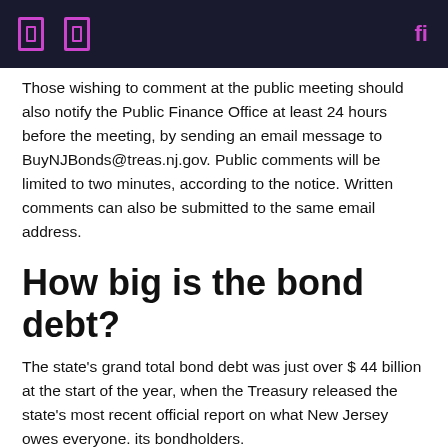[navigation header with icons]
Those wishing to comment at the public meeting should also notify the Public Finance Office at least 24 hours before the meeting, by sending an email message to BuyNJBonds@treas.nj.gov. Public comments will be limited to two minutes, according to the notice. Written comments can also be submitted to the same email address.
How big is the bond debt?
The state's grand total bond debt was just over $ 44 billion at the start of the year, when the Treasury released the state's most recent official report on what New Jersey owes everyone. its bondholders.
This sum is almost as large as the last annual state budget. It places New Jersey fourth among states in the tax-financed gross debt category, according to the Treasury report.